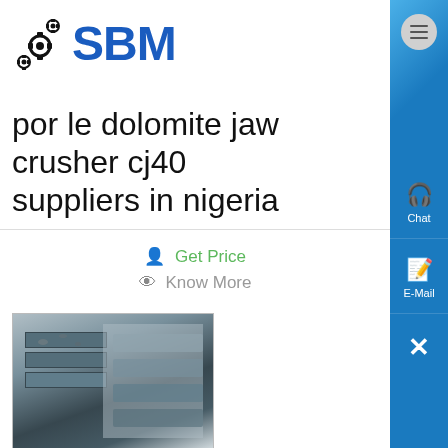[Figure (logo): SBM logo with gear icons and blue bold SBM text]
por le dolomite jaw crusher cj408 suppliers in nigeria
Get Price
Know More
[Figure (photo): Photo of a portable rock crusher jaw plates, metallic gray industrial equipment]
portable rock crusher nigeria
Limestone, Jaw Crusher Nigeria Supplier Portable